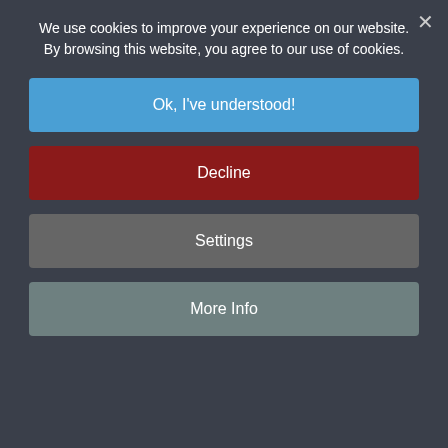We use cookies to improve your experience on our website. By browsing this website, you agree to our use of cookies.
Ok, I've understood!
Decline
Settings
More Info
Extra Curricular Activities
PSHE and Learning for Life Days
Reading
SMSC Education